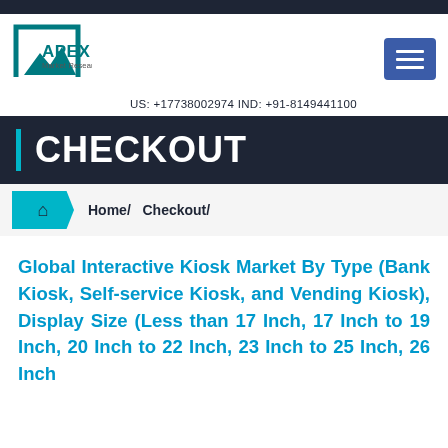[Figure (logo): Apex Market Research logo with teal square bracket and mountain/chevron icon]
US: +17738002974 IND: +91-8149441100
CHECKOUT
Home/ Checkout/
Global Interactive Kiosk Market By Type (Bank Kiosk, Self-service Kiosk, and Vending Kiosk), Display Size (Less than 17 Inch, 17 Inch to 19 Inch, 20 Inch to 22 Inch, 23 Inch to 25 Inch, 26 Inch